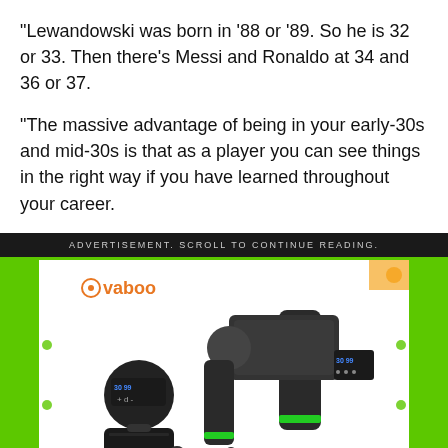“Lewandowski was born in ’88 or ’89. So he is 32 or 33. Then there’s Messi and Ronaldo at 34 and 36 or 37.
“The massive advantage of being in your early-30s and mid-30s is that as a player you can see things in the right way if you have learned throughout your career.
ADVERTISEMENT. SCROLL TO CONTINUE READING.
[Figure (photo): Advertisement image for Vaboo massage gun product showing the device, accessories, carrying case, and attachment heads on a white background with green border and green brand logo.]